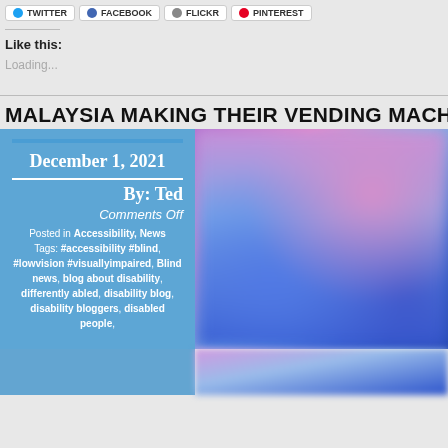[Figure (screenshot): Social sharing buttons for Twitter, Facebook, Flipboard, and Pinterest]
Like this:
Loading...
MALAYSIA MAKING THEIR VENDING MACHINES
[Figure (other): Blog post card with metadata overlay on blurred blue/pink background image. Date: December 1, 2021. By: Ted. Comments Off. Posted in Accessibility, News. Tags: #accessibility #blind, #lowvision #visuallyimpaired, Blind news, blog about disability, differently abled, disability blog, disability bloggers, disabled people]